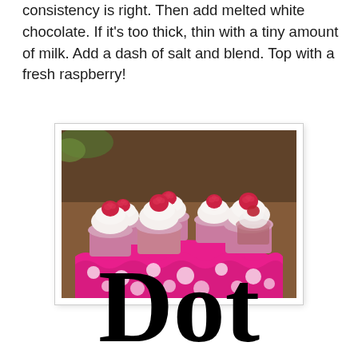consistency is right.  Then add melted white chocolate.  If it's too thick, thin with a tiny amount of milk.  Add a dash of salt and blend.  Top with a fresh raspberry!
[Figure (photo): Cupcakes with white frosting and fresh raspberries on top, displayed on a pink and white polka dot ruffled stand on a wooden table.]
Dot